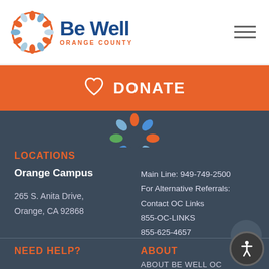[Figure (logo): Be Well Orange County logo — circular decorative emblem in orange/blue with text 'Be Well' in dark blue and 'ORANGE COUNTY' in orange below]
[Figure (illustration): Hamburger menu icon (three horizontal lines)]
[Figure (illustration): Heart outline icon in white on orange donate banner]
DONATE
[Figure (logo): Partial Be Well OC circular logo visible at top of dark footer section]
LOCATIONS
Orange Campus
265 S. Anita Drive,
Orange, CA 92868
Main Line: 949-749-2500
For Alternative Referrals:
Contact OC Links
855-OC-LINKS
855-625-4657
NEED HELP?
ABOUT
ABOUT BE WELL OC
PRIORITIES